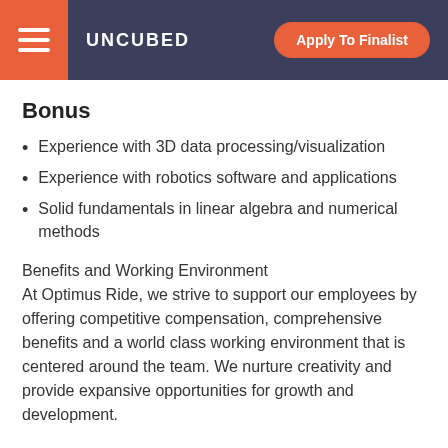UNCUBED  Apply To Finalist
Bonus
Experience with 3D data processing/visualization
Experience with robotics software and applications
Solid fundamentals in linear algebra and numerical methods
Benefits and Working Environment
At Optimus Ride, we strive to support our employees by offering competitive compensation, comprehensive benefits and a world class working environment that is centered around the team. We nurture creativity and provide expansive opportunities for growth and development.